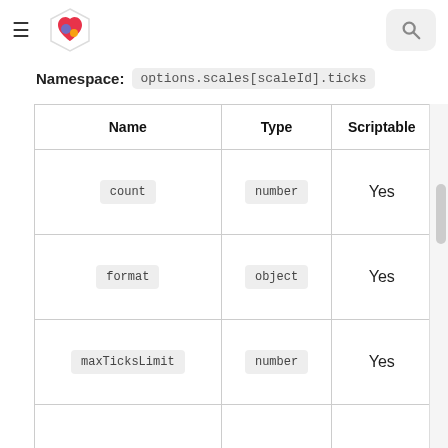≡ [logo] [search]
Namespace: options.scales[scaleId].ticks
| Name | Type | Scriptable |
| --- | --- | --- |
| count | number | Yes |
| format | object | Yes |
| maxTicksLimit | number | Yes |
|  |  |  |